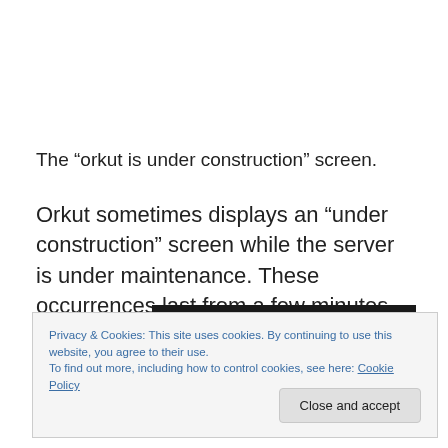The “orkut is under construction” screen.
Orkut sometimes displays an “under construction” screen while the server is under maintenance. These occurrences last from a few minutes to a few hours.
Privacy & Cookies: This site uses cookies. By continuing to use this website, you agree to their use.
To find out more, including how to control cookies, see here: Cookie Policy